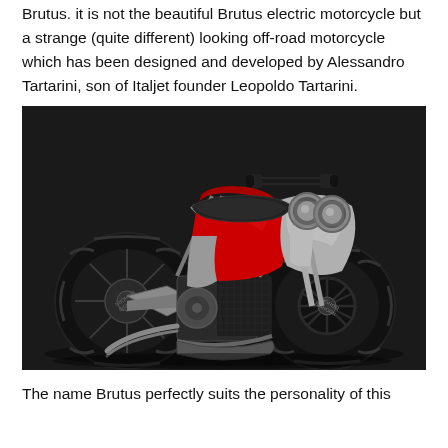Brutus. it is not the beautiful Brutus electric motorcycle but a strange (quite different) looking off-road motorcycle which has been designed and developed by Alessandro Tartarini, son of Italjet founder Leopoldo Tartarini.
[Figure (photo): An off-road motorcycle called Brutus with large knobby tires, red and silver body panels with dual round headlights, photographed on a dark background.]
The name Brutus perfectly suits the personality of this